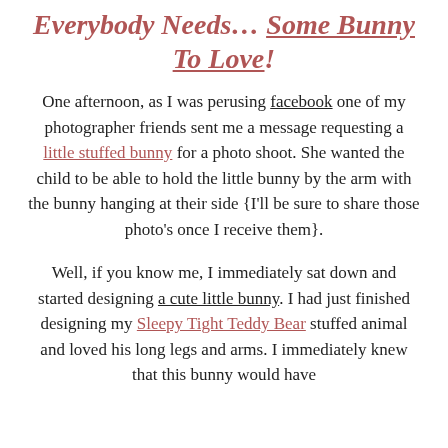Everybody Needs... Some Bunny To Love!
One afternoon, as I was perusing facebook one of my photographer friends sent me a message requesting a little stuffed bunny for a photo shoot. She wanted the child to be able to hold the little bunny by the arm with the bunny hanging at their side {I'll be sure to share those photo's once I receive them}.
Well, if you know me, I immediately sat down and started designing a cute little bunny. I had just finished designing my Sleepy Tight Teddy Bear stuffed animal and loved his long legs and arms. I immediately knew that this bunny would have